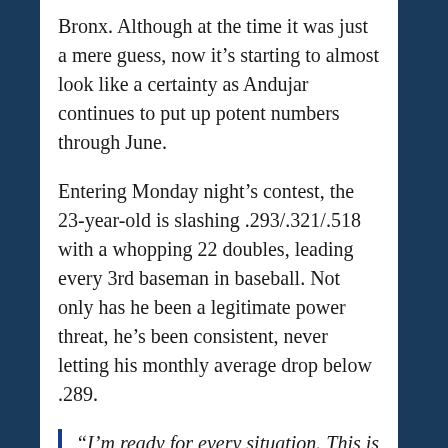Bronx. Although at the time it was just a mere guess, now it's starting to almost look like a certainty as Andujar continues to put up potent numbers through June.
Entering Monday night's contest, the 23-year-old is slashing .293/.321/.518 with a whopping 22 doubles, leading every 3rd baseman in baseball. Not only has he been a legitimate power threat, he's been consistent, never letting his monthly average drop below .289.
“I’m ready for every situation. This is the game. I try to do my job and help the team,” Andujar said. “We have good players here. I feel good to